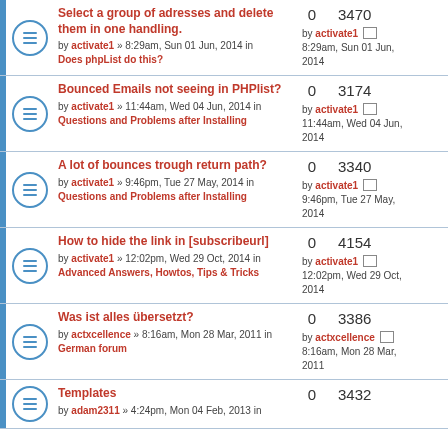Select a group of adresses and delete them in one handling. by activate1 » 8:29am, Sun 01 Jun, 2014 in Does phpList do this? | 0 | 3470 | by activate1 8:29am, Sun 01 Jun, 2014
Bounced Emails not seeing in PHPlist? by activate1 » 11:44am, Wed 04 Jun, 2014 in Questions and Problems after Installing | 0 | 3174 | by activate1 11:44am, Wed 04 Jun, 2014
A lot of bounces trough return path? by activate1 » 9:46pm, Tue 27 May, 2014 in Questions and Problems after Installing | 0 | 3340 | by activate1 9:46pm, Tue 27 May, 2014
How to hide the link in [subscribeurl] by activate1 » 12:02pm, Wed 29 Oct, 2014 in Advanced Answers, Howtos, Tips & Tricks | 0 | 4154 | by activate1 12:02pm, Wed 29 Oct, 2014
Was ist alles übersetzt? by actxcellence » 8:16am, Mon 28 Mar, 2011 in German forum | 0 | 3386 | by actxcellence 8:16am, Mon 28 Mar, 2011
Templates by adam2311 » 4:24pm, Mon 04 Feb, 2013 in | 0 | 3432